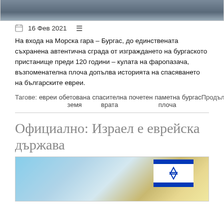[Figure (photo): Top portion of an outdoor photo, appears to show stone or ground surface]
16 Фев 2021
На входа на Морска гара – Бургас, до единствената съхранена автентична сграда от изграждането на бургаското пристанище преди 120 години – кулата на фаропазача, възпоменателна плоча допълва историята на спасяването на българските евреи.
Тагове: евреи обетована земя спасителна врата почетен паметна плоча бургас   Продължава...
Официално: Израел е еврейска държава
[Figure (photo): Photo showing Israeli flag with blue and white colors and Star of David, blue sky with clouds in background]